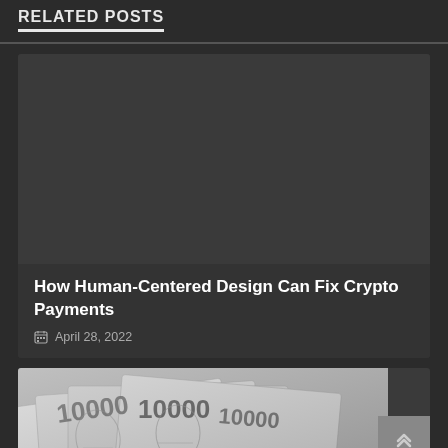RELATED POSTS
[Figure (photo): Dark placeholder image for a blog post card]
How Human-Centered Design Can Fix Crypto Payments
April 28, 2022
[Figure (photo): Black and white photo of Japanese 10000 yen banknotes spread out]